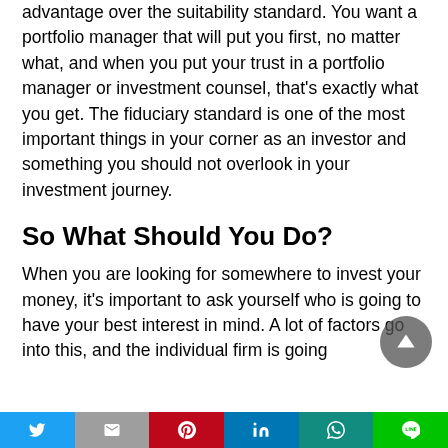advantage over the suitability standard. You want a portfolio manager that will put you first, no matter what, and when you put your trust in a portfolio manager or investment counsel, that's exactly what you get. The fiduciary standard is one of the most important things in your corner as an investor and something you should not overlook in your investment journey.
So What Should You Do?
When you are looking for somewhere to invest your money, it's important to ask yourself who is going to have your best interest in mind. A lot of factors go into this, and the individual firm is going
Twitter | Gmail | Pinterest | LinkedIn | WhatsApp | LINE